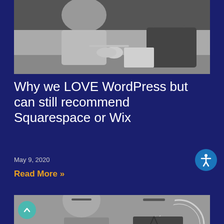[Figure (photo): Black and white photo of two people sitting across a table, appearing to be in a meeting or cafe setting, one person in a cardigan and another in a dark jacket]
Why we LOVE WordPress but can still recommend Squarespace or Wix
May 9, 2020
Read More »
[Figure (photo): Black and white photo of two men looking down at something together, one wearing glasses and a striped shirt, the other in a dark v-neck shirt, with a circular badge/logo visible in background]